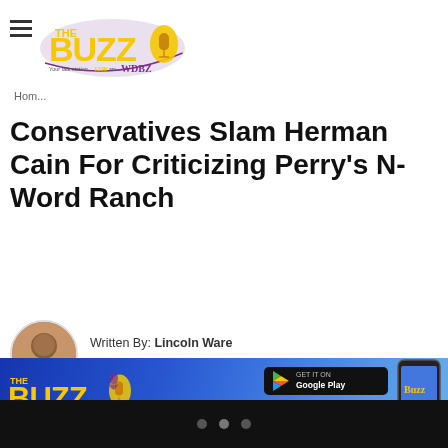The Buzz WDBZ — Home
Conservatives Slam Herman Cain For Criticizing Perry's N-Word Ranch
Written By: Lincoln Ware
Posted October 4, 2011
[Figure (infographic): The Buzz WDBZ app advertisement banner with Google Play and App Store download buttons and a phone mockup on a blue gradient background]